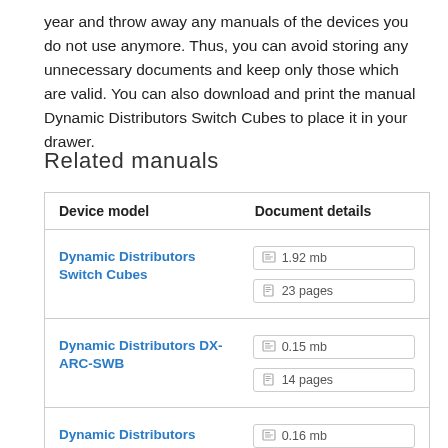year and throw away any manuals of the devices you do not use anymore. Thus, you can avoid storing any unnecessary documents and keep only those which are valid. You can also download and print the manual Dynamic Distributors Switch Cubes to place it in your drawer.
Related manuals
| Device model | Document details |
| --- | --- |
| Dynamic Distributors Switch Cubes | 1.92 mb
23 pages |
| Dynamic Distributors DX-ARC-SWB | 0.15 mb
14 pages |
| Dynamic Distributors Studio Switch | 0.16 mb
2 pages |